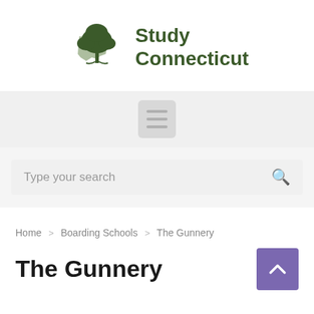[Figure (logo): Study Connecticut logo with a tree over a Connecticut state map outline and text 'Study Connecticut']
[Figure (other): Hamburger menu icon (three horizontal lines) on a gray background]
Type your search
Home > Boarding Schools > The Gunnery
The Gunnery